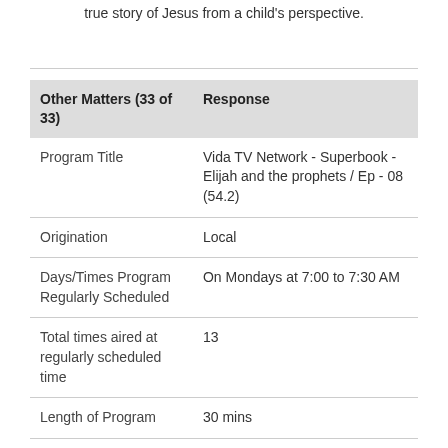true story of Jesus from a child's perspective.
| Other Matters (33 of 33) | Response |
| --- | --- |
| Program Title | Vida TV Network - Superbook - Elijah and the prophets / Ep - 08 (54.2) |
| Origination | Local |
| Days/Times Program Regularly Scheduled | On Mondays at 7:00 to 7:30 AM |
| Total times aired at regularly scheduled time | 13 |
| Length of Program | 30 mins |
| Age of Target Child | 3 years to 7 years |